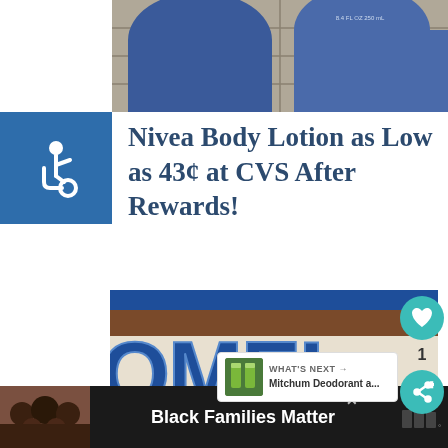[Figure (photo): Blue Nivea body lotion containers in a shopping cart, top-down view]
Nivea Body Lotion as Low as 43¢ at CVS After Rewards!
[Figure (photo): CVS pharmacy store exterior sign showing large blue letters 'OMEL' (partial CVS Pharmacy sign), with a like button showing count 1, a share button, and a What's Next overlay for Mitchum Deodorant]
[Figure (photo): Ad banner at bottom showing Black Families Matter with a family photo]